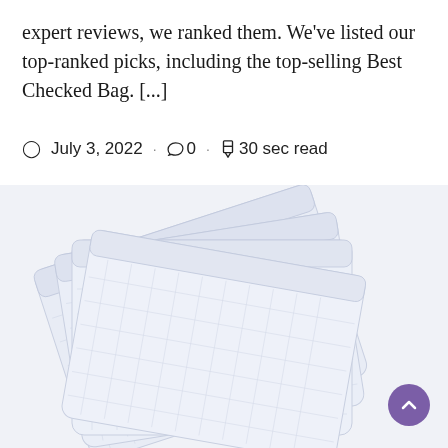expert reviews, we ranked them. We've listed our top-ranked picks, including the top-selling Best Checked Bag. [...]
July 3, 2022 · 0 · 30 sec read
[Figure (photo): Stack of four white muslin burp cloths fanned out, showing textured waffle-weave fabric with light blue grid pattern]